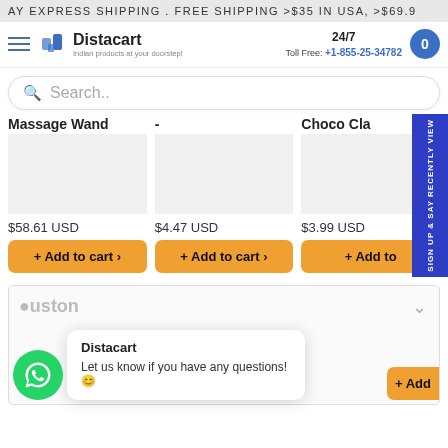AY EXPRESS SHIPPING . FREE SHIPPING >$35 IN USA, >$69.9
[Figure (screenshot): Distacart website header with logo, 24/7 toll free number +1-855-25-34782, and cart button]
Search..
Massage Wand
-
Choco Cla
$58.61 USD
$4.47 USD
$3.99 USD
+ Add to cart >
+ Add to cart >
+ Add to
Sign up & say RECENTLY VIEW
Custom
Distacart
Let us know if you have any questions! 😊